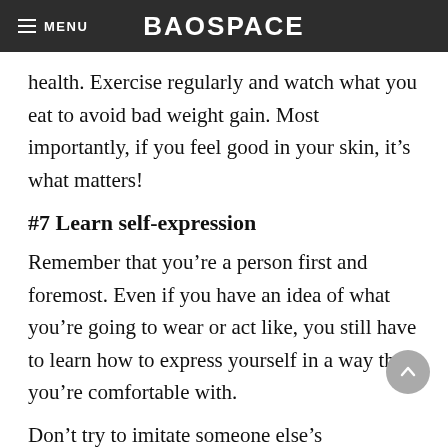BAOSPACE
health. Exercise regularly and watch what you eat to avoid bad weight gain. Most importantly, if you feel good in your skin, it’s what matters!
#7 Learn self-expression
Remember that you’re a person first and foremost. Even if you have an idea of what you’re going to wear or act like, you still have to learn how to express yourself in a way that you’re comfortable with.
Don’t try to imitate someone else’s